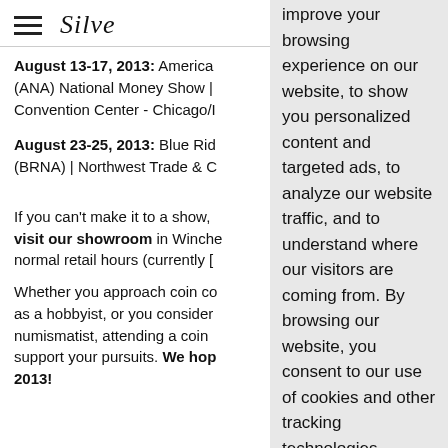Silver [logo]
August 13-17, 2013: America (ANA) National Money Show | Convention Center - Chicago/I
August 23-25, 2013: Blue Rid (BRNA) | Northwest Trade & C
If you can't make it to a show, visit our showroom in Winche normal retail hours (currently [...]
Whether you approach coin co as a hobbyist, or you consider numismatist, attending a coin support your pursuits. We hop 2013!
improve your browsing experience on our website, to show you personalized content and targeted ads, to analyze our website traffic, and to understand where our visitors are coming from. By browsing our website, you consent to our use of cookies and other tracking technologies.
OK
Change my preferences